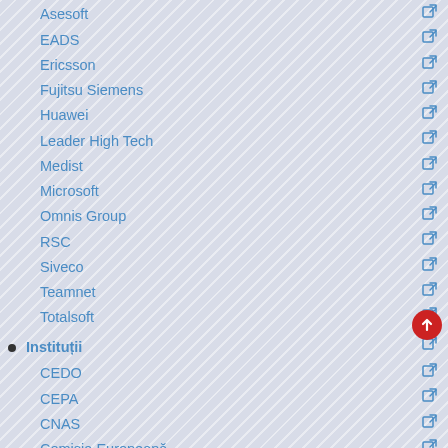Asesoft
EADS
Ericsson
Fujitsu Siemens
Huawei
Leader High Tech
Medist
Microsoft
Omnis Group
RSC
Siveco
Teamnet
Totalsoft
Instituții
CEDO
CEPA
CNAS
Comisia Europeană
DLAF
DNA